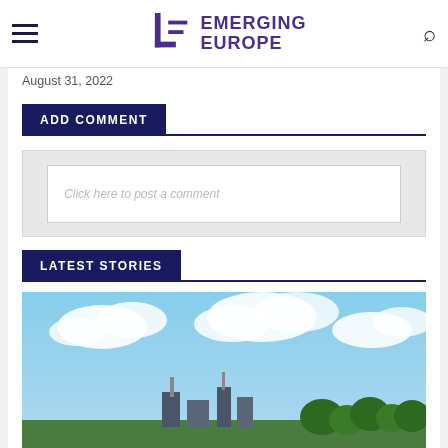Emerging Europe
August 31, 2022
ADD COMMENT
Click here to post a comment
LATEST STORIES
[Figure (photo): Industrial or power plant facility with blue sky and clouds in the background, with trees visible]